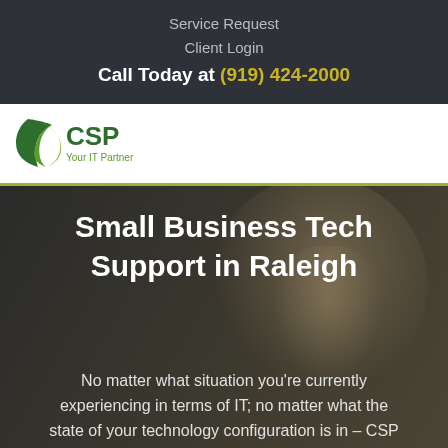Service Request
Client Login
Call Today at (919) 424-2000
[Figure (logo): CSP Your IT Partner logo with green shield/leaf icon and bold CSP text]
Small Business Tech Support in Raleigh
No matter what situation you’re currently experiencing in terms of IT; no matter what the state of your technology configuration is in – CSP